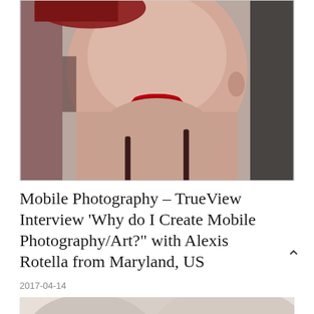[Figure (photo): Close-up portrait of a woman with red lipstick and dark clothing, photographed from nose to chest level, with blurred background]
Mobile Photography – TrueView Interview 'Why do I Create Mobile Photography/Art?' with Alexis Rotella from Maryland, US
2017-04-14
[Figure (photo): Partial view of a second photo, light-toned abstract or landscape image, partially visible at bottom of page]